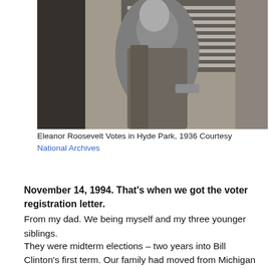[Figure (photo): Black and white photograph of Eleanor Roosevelt voting in Hyde Park, 1936]
Eleanor Roosevelt Votes in Hyde Park, 1936 Courtesy National Archives
November 14, 1994. That’s when we got the voter registration letter. From my dad. We being myself and my three younger siblings.
They were midterm elections – two years into Bill Clinton’s first term. Our family had moved from Michigan to Tennessee in July so my husband could go to graduate